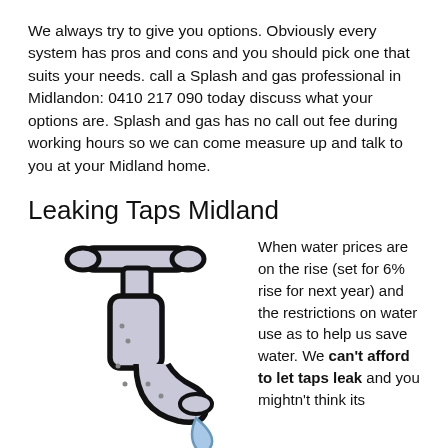We always try to give you options. Obviously every system has pros and cons and you should pick one that suits your needs. call a Splash and gas professional in Midlandon: 0410 217 090 today discuss what your options are. Splash and gas has no call out fee during working hours so we can come measure up and talk to you at your Midland home.
Leaking Taps Midland
[Figure (illustration): Cartoon illustration of a leaking tap/faucet with a water droplet, drawn in a simple bold-outline style with a light grey/blue color fill.]
When water prices are on the rise (set for 6% rise for next year) and the restrictions on water use as to help us save water. We can't afford to let taps leak and you mightn't think its